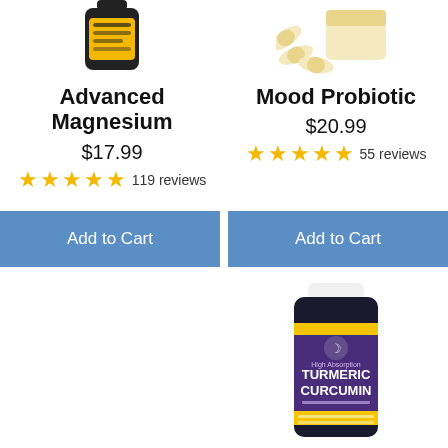[Figure (photo): Product photo of Advanced Magnesium supplement bottle, partially cropped at top]
[Figure (photo): Product photo of Mood Probiotic supplement capsules, partially cropped at top]
Advanced Magnesium
$17.99
★★★★★ 119 reviews
Mood Probiotic
$20.99
★★★★★ 55 reviews
Add to Cart
Add to Cart
[Figure (photo): Product photo of Turmeric Curcumin supplement bottle with purple/yellow label, High Absorption formula]